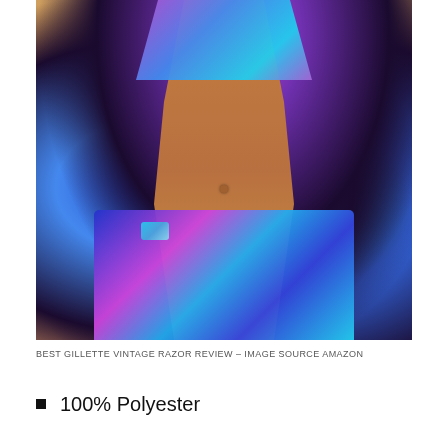[Figure (photo): A woman wearing a colorful floral print bikini with purple, blue, teal and black pattern. The image shows the midriff and lower body area featuring bikini shorts with matching floral design and a bracelet on the wrist.]
BEST GILLETTE VINTAGE RAZOR REVIEW – IMAGE SOURCE AMAZON
100% Polyester